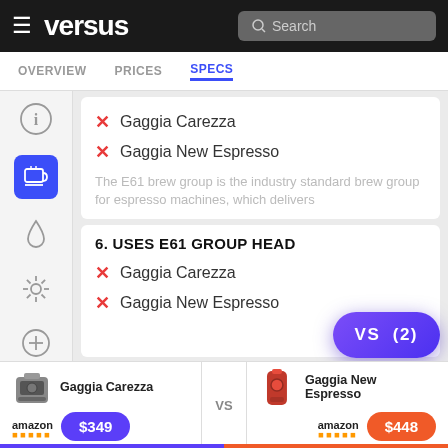versus — OVERVIEW | PRICES | SPECS
✗ Gaggia Carezza
✗ Gaggia New Espresso
The E61 brew group is the industry standard brew group for espresso machines, which delivers
6. USES E61 GROUP HEAD
✗ Gaggia Carezza
✗ Gaggia New Espresso
Gaggia Carezza $349 VS Gaggia New Espresso $448